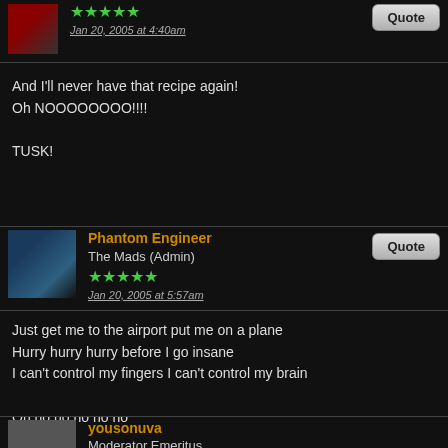Jan 20, 2005 at 4:40am
And I'll never have that recipe again!
Oh NOOOOOOOO!!!!

TUSK!
Phantom Engineer
The Mads (Admin)
Jan 20, 2005 at 5:57am
Just get me to the airport put me on a plane
Hurry hurry hurry before I go insane
I can't control my fingers I can't control my brain

Oh no no no no no
TUSK!
yousonuva
Moderator Emeritus